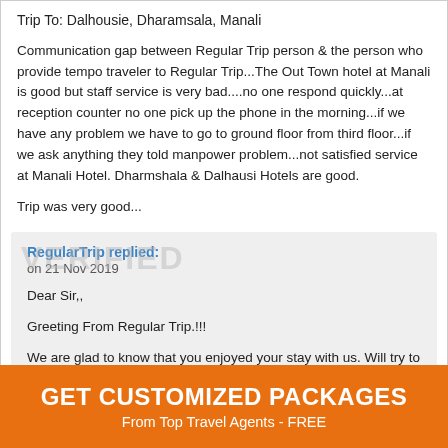Trip To: Dalhousie, Dharamsala, Manali
Communication gap between Regular Trip person & the person who provide tempo traveler to Regular Trip...The Out Town hotel at Manali is good but staff service is very bad....no one respond quickly...at reception counter no one pick up the phone in the morning...if we have any problem we have to go to ground floor from third floor...if we ask anything they told manpower problem...not satisfied service at Manali Hotel. Dharmshala & Dalhausi Hotels are good.
Trip was very good...
RegularTrip replied:
on 21 Nov 2019

Dear Sir,,

Greeting From Regular Trip.!!!

We are glad to know that you enjoyed your stay with us. Will try to make your next trip even more joyous.

Thanks & Regards
GET CUSTOMIZED PACKAGES
From Top Travel Agents - FREE